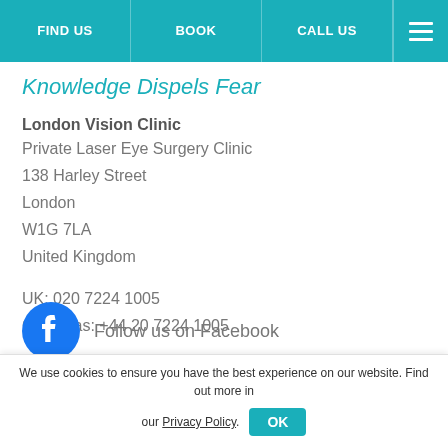FIND US | BOOK | CALL US
Knowledge Dispels Fear
London Vision Clinic
Private Laser Eye Surgery Clinic
138 Harley Street
London
W1G 7LA
United Kingdom
UK: 020 7224 1005
Overseas: +44 20 7224 1005
Follow us on Facebook
We use cookies to ensure you have the best experience on our website. Find out more in our Privacy Policy.